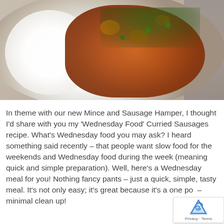[Figure (photo): A white bowl/plate containing white rice on the left side and a curried sausage dish with vegetables (carrots, peas) and fresh herbs (cilantro/parsley) on the right side, on a stone/concrete surface]
In theme with our new Mince and Sausage Hamper, I thought I'd share with you my 'Wednesday Food' Curried Sausages recipe.  What's Wednesday food you may ask?  I heard something said recently – that people want slow food for the weekends and Wednesday food during the week (meaning quick and simple preparation).  Well, here's a Wednesday meal for you!  Nothing fancy pants – just a quick, simple, tasty meal. It's not only easy; it's great because it's a one po– minimal clean up!